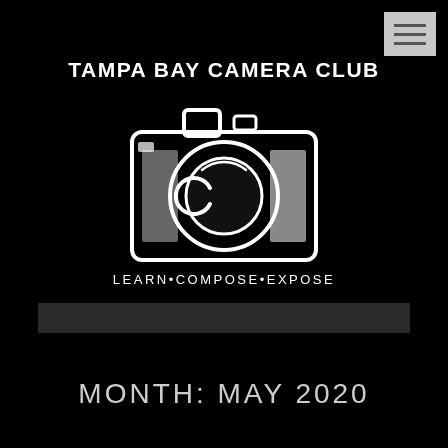[Figure (logo): Tampa Bay Camera Club logo with hamburger menu icon in top right corner. Logo shows a camera outline with lens and the letters 'CB' stylized inside, on a black background. Below the camera is the tagline LEARN•COMPOSE•EXPOSE.]
TAMPA BAY CAMERA CLUB
LEARN•COMPOSE•EXPOSE
MONTH: MAY 2020